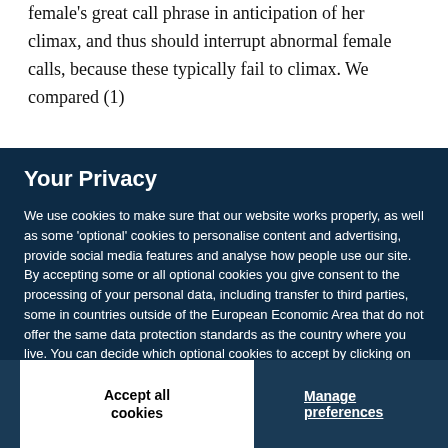female's great call phrase in anticipation of her climax, and thus should interrupt abnormal female calls, because these typically fail to climax. We compared (1)
Your Privacy
We use cookies to make sure that our website works properly, as well as some 'optional' cookies to personalise content and advertising, provide social media features and analyse how people use our site. By accepting some or all optional cookies you give consent to the processing of your personal data, including transfer to third parties, some in countries outside of the European Economic Area that do not offer the same data protection standards as the country where you live. You can decide which optional cookies to accept by clicking on 'Manage Settings', where you can also find more information about how your personal data is processed. Further information can be found in our privacy policy.
Accept all cookies
Manage preferences